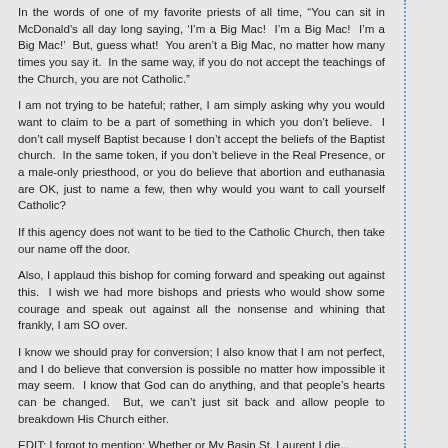In the words of one of my favorite priests of all time, "You can sit in McDonald's all day long saying, 'I'm a Big Mac!  I'm a Big Mac!  I'm a Big Mac!'  But, guess what!  You aren't a Big Mac, no matter how many times you say it.  In the same way, if you do not accept the teachings of the Church, you are not Catholic."
I am not trying to be hateful; rather, I am simply asking why you would want to claim to be a part of something in which you don't believe.  I don't call myself Baptist because I don't accept the beliefs of the Baptist church.  In the same token, if you don't believe in the Real Presence, or a male-only priesthood, or you do believe that abortion and euthanasia are OK, just to name a few, then why would you want to call yourself Catholic?
If this agency does not want to be tied to the Catholic Church, then take our name off the door.
Also, I applaud this bishop for coming forward and speaking out against this.  I wish we had more bishops and priests who would show some courage and speak out against all the nonsense and whining that frankly, I am SO over.
I know we should pray for conversion; I also know that I am not perfect, and I do believe that conversion is possible no matter how impossible it may seem.  I know that God can do anything, and that people's hearts can be changed.  But, we can't just sit back and allow people to breakdown His Church either.
EDIT: I forgot to mention: Whether or My Basin St. Laurent I die...